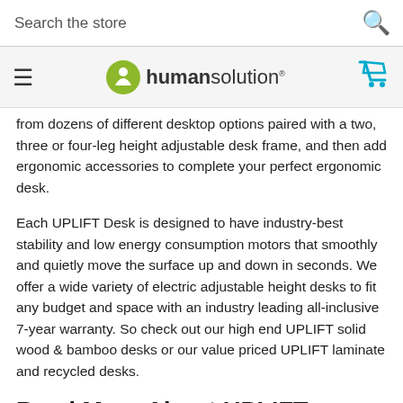Search the store
[Figure (logo): Human Solution logo with green circle icon and text 'humansolution']
from dozens of different desktop options paired with a two, three or four-leg height adjustable desk frame, and then add ergonomic accessories to complete your perfect ergonomic desk.
Each UPLIFT Desk is designed to have industry-best stability and low energy consumption motors that smoothly and quietly move the surface up and down in seconds. We offer a wide variety of electric adjustable height desks to fit any budget and space with an industry leading all-inclusive 7-year warranty. So check out our high end UPLIFT solid wood & bamboo desks or our value priced UPLIFT laminate and recycled desks.
Read More About UPLIFT Standing Desks